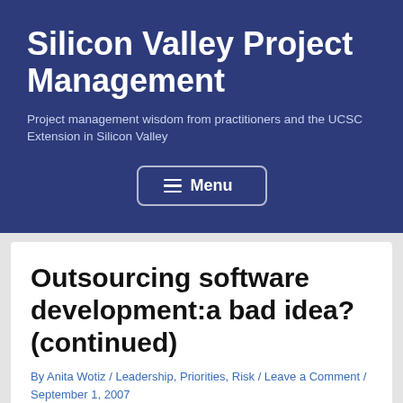Silicon Valley Project Management
Project management wisdom from practitioners and the UCSC Extension in Silicon Valley
[Figure (other): Menu navigation button with hamburger icon and 'Menu' label, white border rounded rectangle on dark blue background]
Outsourcing software development:a bad idea? (continued)
By Anita Wotiz / Leadership, Priorities, Risk / Leave a Comment / September 1, 2007